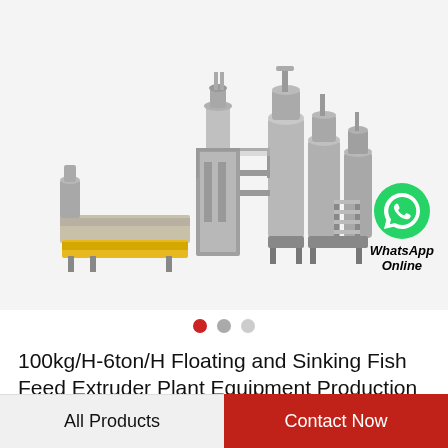[Figure (photo): Industrial fish feed extruder plant production line machinery — large stainless steel multi-stage extrusion and processing equipment with tanks, conveyors, stairs, and yellow base. WhatsApp Online badge in bottom right of image.]
● ○ ○ (image carousel dots, first active)
100kg/H-6ton/H Floating and Sinking Fish Feed Extruder Plant Equipment Production Line…
All Products | Contact Now